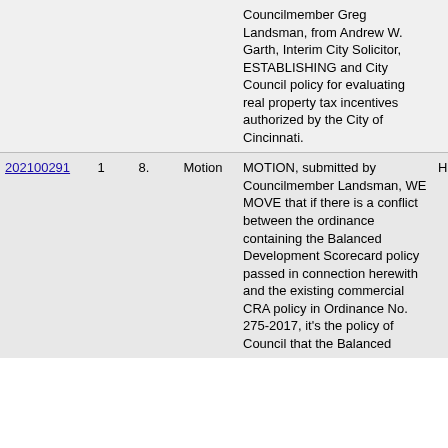| ID |  |  | Type | Description | Status |
| --- | --- | --- | --- | --- | --- |
|  |  |  |  | Councilmember Greg Landsman, from Andrew W. Garth, Interim City Solicitor, ESTABLISHING and City Council policy for evaluating real property tax incentives authorized by the City of Cincinnati. |  |
| 202100291 | 1 | 8. | Motion | MOTION, submitted by Councilmember Landsman, WE MOVE that if there is a conflict between the ordinance containing the Balanced Development Scorecard policy passed in connection herewith and the existing commercial CRA policy in Ordinance No. 275-2017, it's the policy of Council that the Balanced | Held |